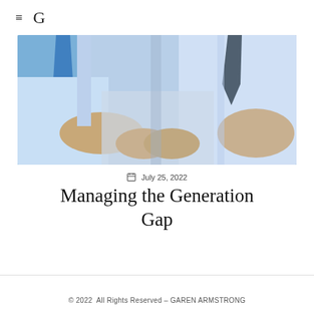≡ G
[Figure (photo): Two men in light blue dress shirts with ties, arms crossed, viewed from the torso down — a professional/business confrontation or generational gap concept photo]
July 25, 2022
Managing the Generation Gap
© 2022  All Rights Reserved – GAREN ARMSTRONG